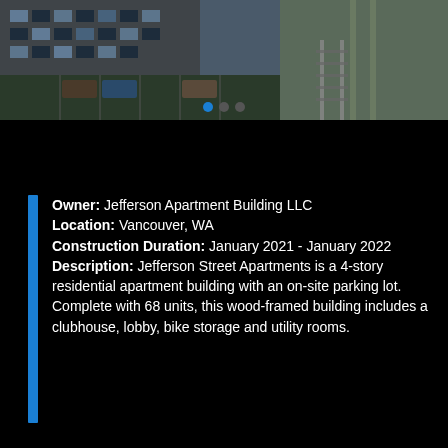[Figure (photo): Aerial view of a multi-story apartment building under construction or newly built, with parking and street visible. Three navigation dots below the image.]
Owner: Jefferson Apartment Building LLC
Location: Vancouver, WA
Construction Duration: January 2021 - January 2022
Description: Jefferson Street Apartments is a 4-story residential apartment building with an on-site parking lot. Complete with 68 units, this wood-framed building includes a clubhouse, lobby, bike storage and utility rooms.